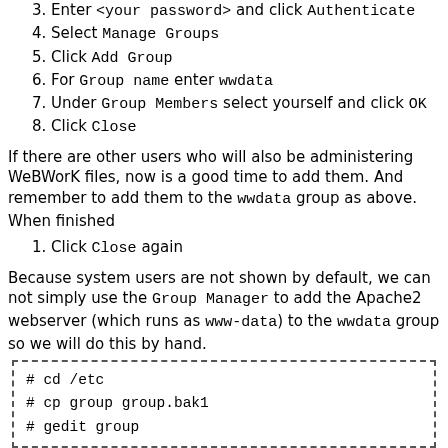3. Enter <your password> and click Authenticate
4. Select Manage Groups
5. Click Add Group
6. For Group name enter wwdata
7. Under Group Members select yourself and click OK
8. Click Close
If there are other users who will also be administering WeBWorK files, now is a good time to add them. And remember to add them to the wwdata group as above. When finished
1. Click Close again
Because system users are not shown by default, we can not simply use the Group Manager to add the Apache2 webserver (which runs as www-data) to the wwdata group so we will do this by hand.
[Figure (screenshot): Code box with dashed border containing three shell commands: # cd /etc, # cp group group.bak1, # gedit group]
1. In the gedit window scroll to the last line.